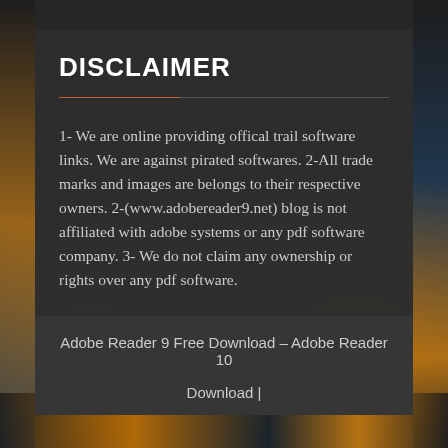DISCLAIMER
1- We are online providing offical trail software links. We are against pirated softwares. 2-All trade marks and images are belongs to their respective owners. 2-(www.adobereader9.net) blog is not affiliated with adobe systems or any pdf software company. 3- We do not claim any ownership or rights over any pdf software.
Adobe Reader 9 Free Download – Adobe Reader 10
Download |